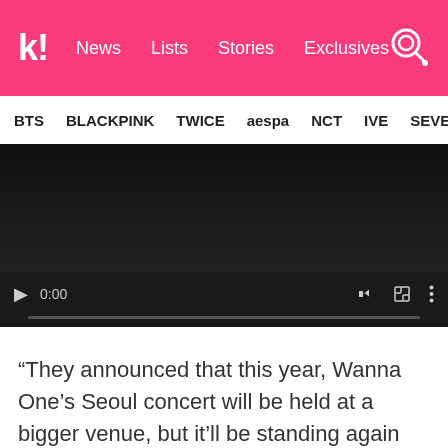k! News Lists Stories Exclusives
BTS BLACKPINK TWICE aespa NCT IVE SEVE
[Figure (screenshot): Embedded video player showing 0:00 timestamp with play button, volume, fullscreen, and more options controls on a dark background]
“They announced that this year, Wanna One’s Seoul concert will be held at a bigger venue, but it’ll be standing again …. 😭😭😭😭😭😭😭 I don’t know if they’re joking or not, I don’t know if I’ll go again but I know that it’ll be a life/death situation